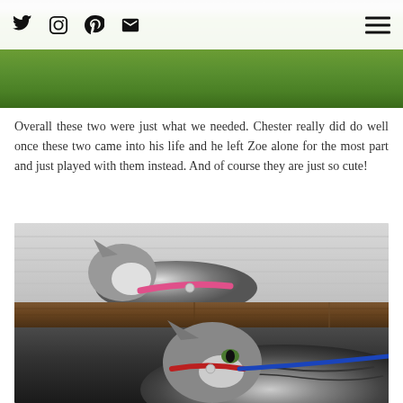[Figure (photo): Top portion of a photo showing green grass/lawn with a white/light colored object, partially visible behind the navigation bar]
[Figure (other): Navigation bar with social media icons (Twitter, Instagram, Pinterest, Email) on the left and hamburger menu on the right]
Overall these two were just what we needed. Chester really did do well once these two came into his life and he left Zoe alone for the most part and just played with them instead. And of course they are just so cute!
[Figure (photo): Photo of two cats — one gray and white cat with a pink collar resting on a wooden fence/deck rail, and another tabby cat below with a red collar and blue leash looking upward]